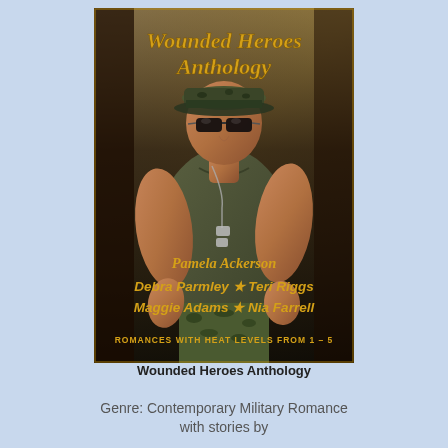[Figure (illustration): Book cover for 'Wounded Heroes Anthology' showing a muscular man in military camouflage cap and olive green tank top with dog tags. Earthy sandy/khaki background. Title 'Wounded Heroes Anthology' in gold serif text at top. Author names listed in gold italic text: Pamela Ackerson, Debra Parmley, Teri Riggs, Maggie Adams, Nia Farrell. Tagline at bottom: ROMANCES WITH HEAT LEVELS FROM 1-5.]
Wounded Heroes Anthology
Genre: Contemporary Military Romance with stories by